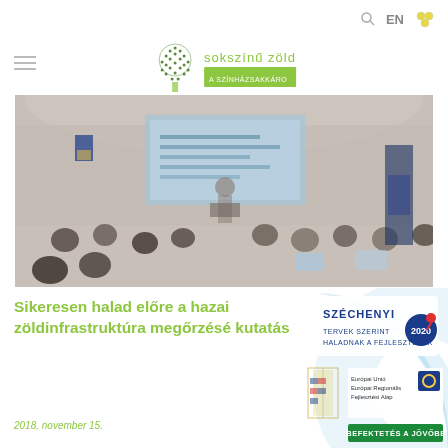EN
[Figure (logo): Sokszínű Zöld logo with tree icon and green text]
[Figure (photo): Conference room photo: speaker at podium with projection screen, audience seated with laptops and phones]
Sikeresen halad előre a hazai zöldinfrastruktúra megőrzésé kutatás
2018. november 15.
[Figure (logo): Széchenyi 2020 logo with EU funding badge and BEFEKTETÉS A JÖVŐBE text]